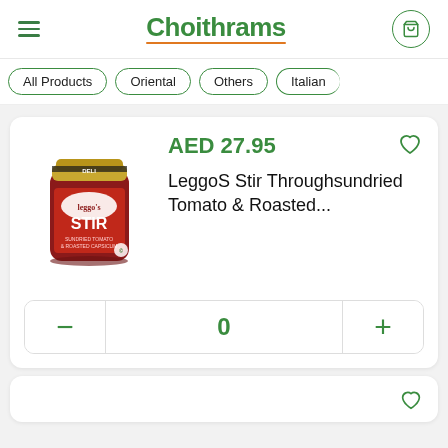Choithrams
All Products
Oriental
Others
Italian
AED 27.95
[Figure (photo): Jar of Leggo's STIR sundried tomato sauce with dark red contents and gold lid]
LeggoS Stir Throughsundried Tomato & Roasted...
0